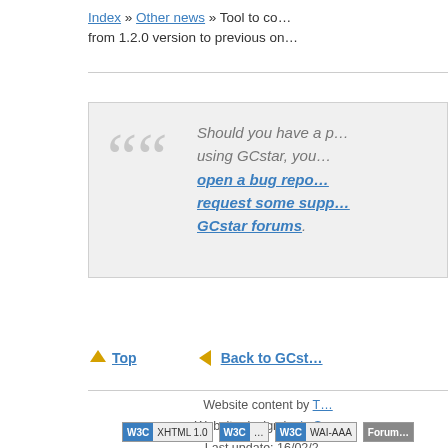Index » Other news » Tool to co... from 1.2.0 version to previous on...
Should you have a p... using GCstar, you... open a bug repo... request some supp... GCstar forums.
⬆ Top   ⬅ Back to GCst...
Website content by T... Website design by le Sp... Last update: 16/02/2...
W3C XHTML 1.0   W3C...   W3C WAI-AAA   Forum...